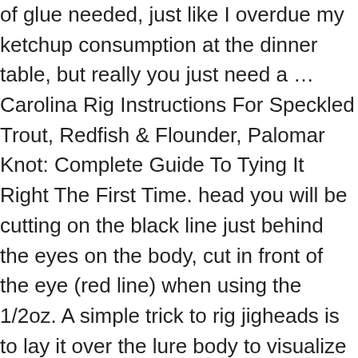of glue needed, just like I overdue my ketchup consumption at the dinner table, but really you just need a … Carolina Rig Instructions For Speckled Trout, Redfish & Flounder, Palomar Knot: Complete Guide To Tying It Right The First Time. head you will be cutting on the black line just behind the eyes on the body, cut in front of the eye (red line) when using the 1/2oz. A simple trick to rig jigheads is to lay it over the lure body to visualize where the hook should exit. Here is a video on how to rig soft plastics lures on a jig head. If you take care of the little things, the rest will come naturally and you will get one step closer to reaching the top 10% (or … Most beginner anglers will buy their soft plastic lures with hooks already attached—and this works fine for most people. Daiwa Tatula SV Review – Good Reasons Why You Want One, Daiwa's Air Brake System: